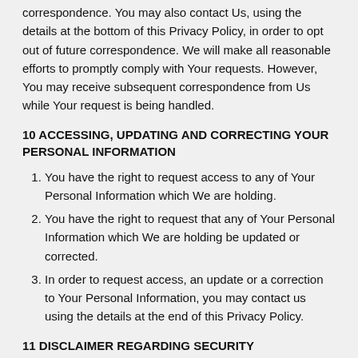correspondence. You may also contact Us, using the details at the bottom of this Privacy Policy, in order to opt out of future correspondence. We will make all reasonable efforts to promptly comply with Your requests. However, You may receive subsequent correspondence from Us while Your request is being handled.
10 ACCESSING, UPDATING AND CORRECTING YOUR PERSONAL INFORMATION
You have the right to request access to any of Your Personal Information which We are holding.
You have the right to request that any of Your Personal Information which We are holding be updated or corrected.
In order to request access, an update or a correction to Your Personal Information, you may contact us using the details at the end of this Privacy Policy.
11 DISCLAIMER REGARDING SECURITY
By continuing to use the Product, You agree to the terms of this